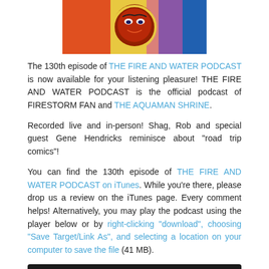[Figure (illustration): Comic book style illustration of a superhero character (Firestorm) with yellow and red costume against a blue and pink background]
The 130th episode of THE FIRE AND WATER PODCAST is now available for your listening pleasure! THE FIRE AND WATER PODCAST is the official podcast of FIRESTORM FAN and THE AQUAMAN SHRINE.
Recorded live and in-person! Shag, Rob and special guest Gene Hendricks reminisce about “road trip comics”!
You can find the 130th episode of THE FIRE AND WATER PODCAST on iTunes. While you’re there, please drop us a review on the iTunes page. Every comment helps! Alternatively, you may play the podcast using the player below or by right-clicking “download”, choosing “Save Target/Link As”, and selecting a location on your computer to save the file (41 MB).
[Figure (screenshot): Audio player widget with play button, time display 00:00, progress bar, and end time 00:00]
Podcast: Play in new window | Download
Opening theme, “That Time is Now,” by Michael Kohler. Special thanks to Daniel Adams and Ashton Burge with their band The Bad Mamma